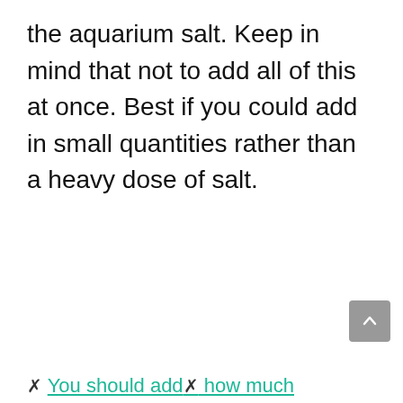the aquarium salt. Keep in mind that not to add all of this at once. Best if you could add in small quantities rather than a heavy dose of salt.
You should add...